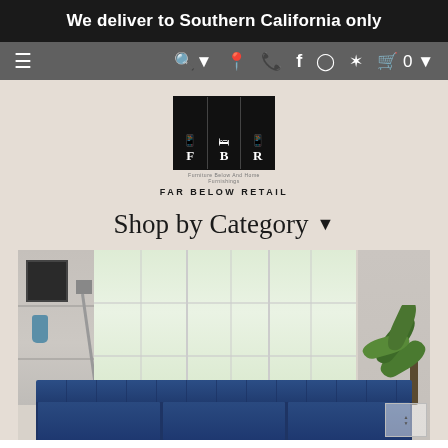We deliver to Southern California only
[Figure (screenshot): Navigation bar with menu icon, search, location, phone, Facebook, Instagram, Yelp icons, and shopping cart with 0 items]
[Figure (logo): Far Below Retail logo - FBR with furniture icons in black box, text FAR BELOW RETAIL below]
Shop by Category
[Figure (photo): Interior furniture photo showing blue tufted sofas/chairs in a bright living room with large windows, floor lamp, bookshelf, and tropical plant]